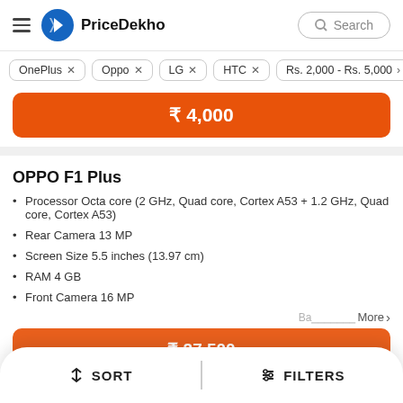PriceDekho
OnePlus ×
Oppo ×
LG ×
HTC ×
Rs. 2,000 - Rs. 5,000 ×
₹ 4,000
OPPO F1 Plus
Processor Octa core (2 GHz, Quad core, Cortex A53 + 1.2 GHz, Quad core, Cortex A53)
Rear Camera 13 MP
Screen Size 5.5 inches (13.97 cm)
RAM 4 GB
Front Camera 16 MP
More >
₹ 27,500
SORT   FILTERS